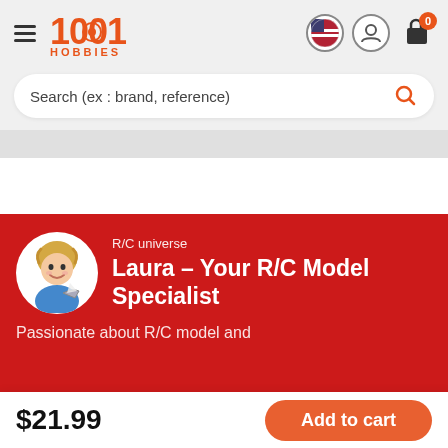[Figure (logo): 1001 Hobbies logo in orange/red with hamburger menu and icons for currency, user, and cart with badge 0]
Search (ex : brand, reference)
[Figure (illustration): Avatar illustration of Laura, a cartoon woman holding an R/C model ship, in a circular frame]
R/C universe
Laura – Your R/C Model Specialist
Passionate about R/C model and
$21.99
Add to cart